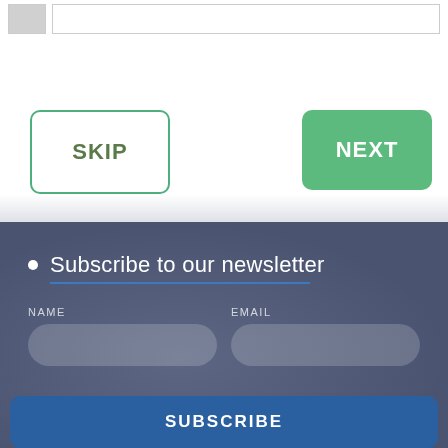[Figure (screenshot): Top white section showing a small gray box and a long white input field at the top]
SKIP
NEXT
Subscribe to our newsletter
NAME
EMAIL
SUBSCRIBE